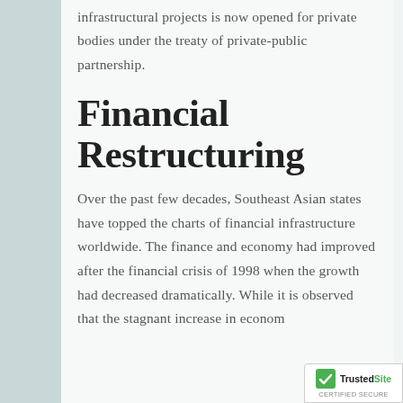infrastructural projects is now opened for private bodies under the treaty of private-public partnership.
Financial Restructuring
Over the past few decades, Southeast Asian states have topped the charts of financial infrastructure worldwide. The finance and economy had improved after the financial crisis of 1998 when the growth had decreased dramatically. While it is observed that the stagnant increase in economy...